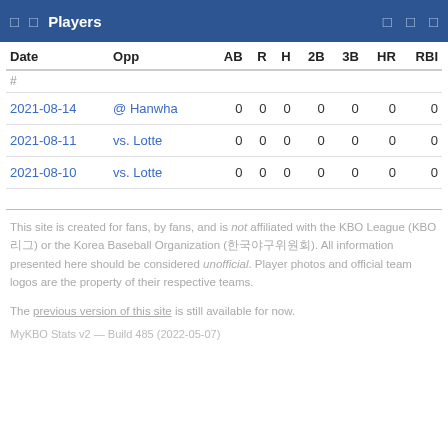□ □ Players □ □ □
| Date | Opp | AB | R | H | 2B | 3B | HR | RBI |
| --- | --- | --- | --- | --- | --- | --- | --- | --- |
| 2021-08-14 | @ Hanwha | 0 | 0 | 0 | 0 | 0 | 0 | 0 |
| 2021-08-11 | vs. Lotte | 0 | 0 | 0 | 0 | 0 | 0 | 0 |
| 2021-08-10 | vs. Lotte | 0 | 0 | 0 | 0 | 0 | 0 | 0 |
This site is created for fans, by fans, and is not affiliated with the KBO League (KBO 리그) or the Korea Baseball Organization (한국야구위원회). All information presented here should be considered unofficial. Player photos and official team logos are the property of their respective teams.
The previous version of this site is still available for now.
MyKBO Stats v2 — Build 485 (2022-05-07)